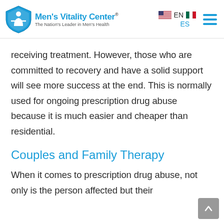[Figure (logo): Men's Vitality Center logo with shield icon and tagline 'The Nation's Leader in Men's Health', with language selector EN/ES and hamburger menu]
receiving treatment. However, those who are committed to recovery and have a solid support will see more success at the end. This is normally used for ongoing prescription drug abuse because it is much easier and cheaper than residential.
Couples and Family Therapy
When it comes to prescription drug abuse, not only is the person affected but their